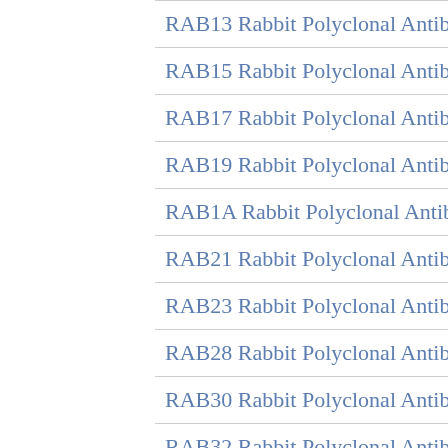RAB13 Rabbit Polyclonal Antibody
RAB15 Rabbit Polyclonal Antibody
RAB17 Rabbit Polyclonal Antibody
RAB19 Rabbit Polyclonal Antibody
RAB1A Rabbit Polyclonal Antibody
RAB21 Rabbit Polyclonal Antibody
RAB23 Rabbit Polyclonal Antibody
RAB28 Rabbit Polyclonal Antibody
RAB30 Rabbit Polyclonal Antibody
RAB32 Rabbit Polyclonal Antibody
RAB36 Rabbit Polyclonal Antibody
RAB43 Rabbit Polyclonal Antibody
RAB5B Rabbit Polyclonal Antibody